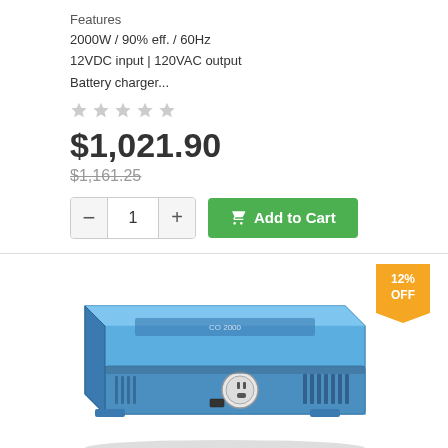Features
2000W / 90% eff. / 60Hz
12VDC input | 120VAC output
Battery charger...
[Figure (other): 5 empty star rating icons]
$1,021.90
$1,161.25 (strikethrough)
[Figure (other): Quantity selector with minus/plus buttons showing 1, and green Add to Cart button]
[Figure (photo): Blue/gray power inverter device (2000W, 12VDC to 120VAC) with ventilation grilles and outlet ports, with an orange 12% OFF badge in top right corner]